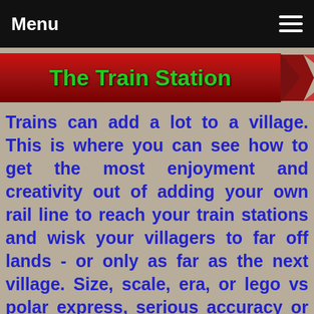Menu
The Train Station
Trains can add a lot to a village. This is where you can see how to get the most enjoyment and creativity out of adding your own rail line to reach your train stations and wisk your villagers to far off lands - or only as far as the next village. Size, scale, era, or lego vs polar express, serious accuracy or just a giant Santa on a North Pole Express. All levels of choice, style, ambition and ability will be covered here.